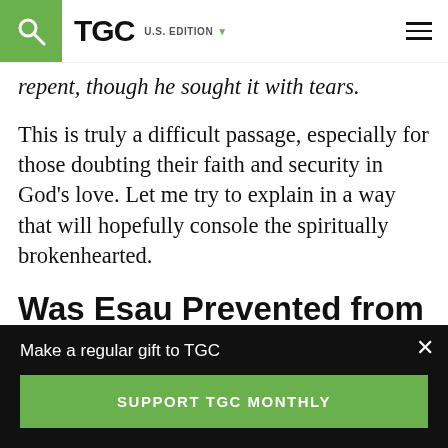TGC | U.S. EDITION
repent, though he sought it with tears.
This is truly a difficult passage, especially for those doubting their faith and security in God's love. Let me try to explain in a way that will hopefully console the spiritually brokenhearted.
Was Esau Prevented from Repenting?
Make a regular gift to TGC
SUPPORT TGC MONTHLY